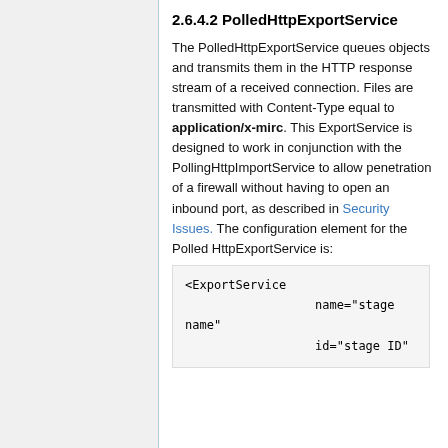2.6.4.2 PolledHttpExportService
The PolledHttpExportService queues objects and transmits them in the HTTP response stream of a received connection. Files are transmitted with Content-Type equal to application/x-mirc. This ExportService is designed to work in conjunction with the PollingHttpImportService to allow penetration of a firewall without having to open an inbound port, as described in Security Issues. The configuration element for the Polled HttpExportService is:
<ExportService
                  name="stage name"
                  id="stage ID"